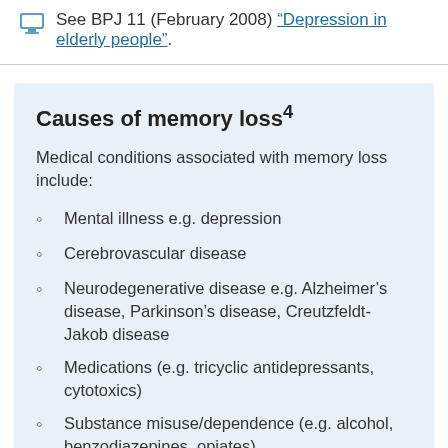See BPJ 11 (February 2008) "Depression in elderly people".
Causes of memory loss⁴
Medical conditions associated with memory loss include:
Mental illness e.g. depression
Cerebrovascular disease
Neurodegenerative disease e.g. Alzheimer’s disease, Parkinson’s disease, Creutzfeldt-Jakob disease
Medications (e.g. tricyclic antidepressants, cytotoxics)
Substance misuse/dependence (e.g. alcohol, benzodiazepines, opiates)